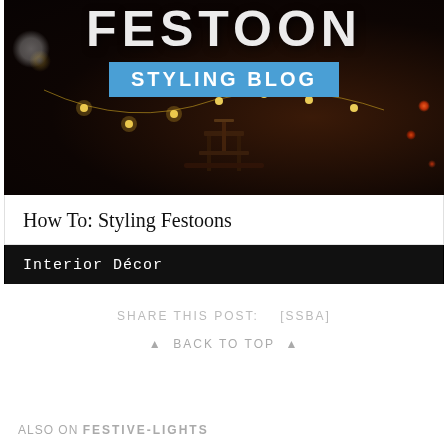[Figure (photo): Dark moody outdoor patio scene at night with festoon string lights hanging above. Text overlay reads 'FESTOON' in large white letters at top, with a blue badge reading 'STYLING BLOG' below it. Background shows brick wall, outdoor furniture, bokeh light effects.]
How To: Styling Festoons
Interior Décor
SHARE THIS POST:    [ssba]
▲  BACK TO TOP  ▲
ALSO ON FESTIVE-LIGHTS